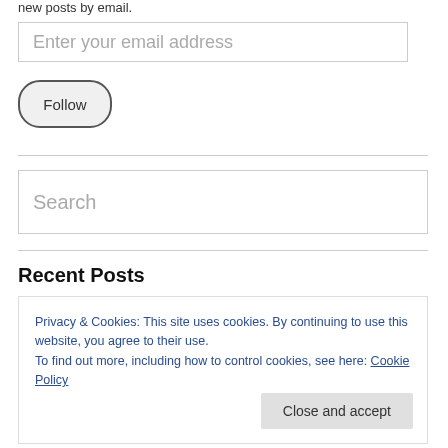new posts by email.
Enter your email address
Follow
Search
Recent Posts
Privacy & Cookies: This site uses cookies. By continuing to use this website, you agree to their use.
To find out more, including how to control cookies, see here: Cookie Policy
Close and accept